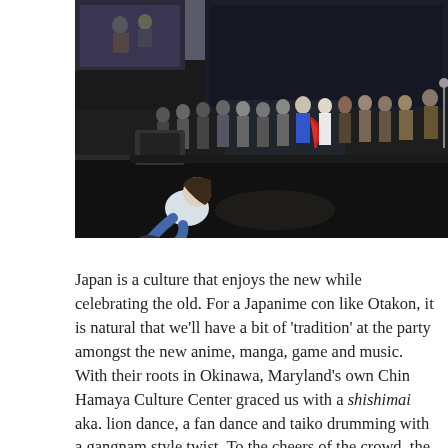[Figure (photo): Indoor event stage photo showing a large group of people standing on a stage, one person dressed as Superman with a red cape. A large projection screen is visible in the background. An audience member is seated on the floor in the foreground watching the stage.]
Japan is a culture that enjoys the new while celebrating the old. For a Japanime con like Otakon, it is natural that we'll have a bit of 'tradition' at the party amongst the new anime, manga, game and music. With their roots in Okinawa, Maryland's own Chin Hamaya Culture Center graced us with a shishimai aka. lion dance, a fan dance and taiko drumming with a gangnam style twist. To the cheers of the crowd, the dances are truly a mixing of cultures, old and new with young teens of various ethnic